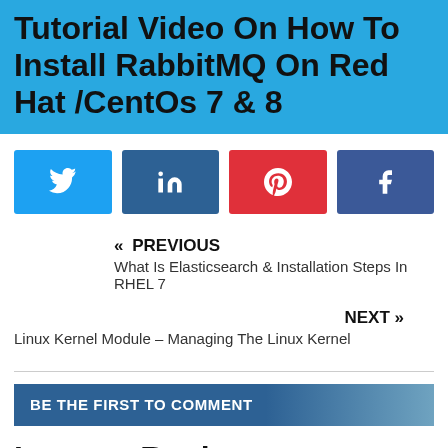Tutorial Video On How To Install RabbitMQ On Red Hat /CentOs 7 & 8
[Figure (other): Social share buttons: Twitter, LinkedIn, Pinterest, Facebook]
« PREVIOUS
What Is Elasticsearch & Installation Steps In RHEL 7
NEXT »
Linux Kernel Module – Managing The Linux Kernel
BE THE FIRST TO COMMENT
Leave a Reply